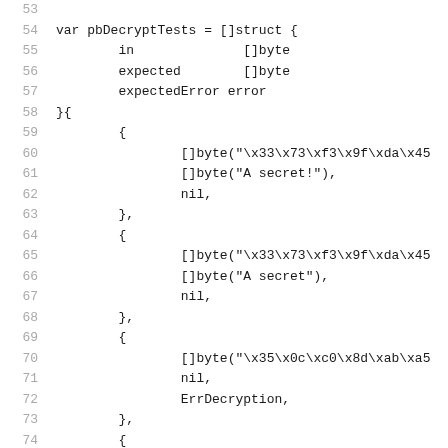Source code listing lines 53-74, Go language code defining pbDecryptTests variable as a slice of structs with fields: in []byte, expected []byte, expectedError error, followed by struct literal entries with test cases.